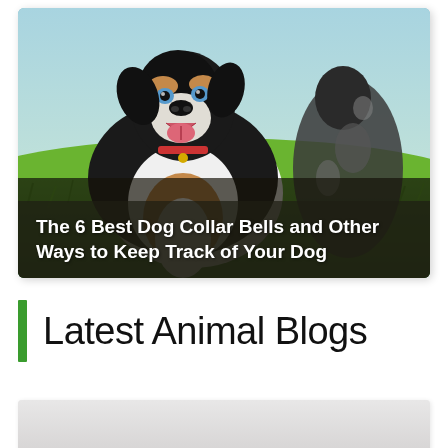[Figure (photo): Photo of two Australian Shepherd dogs standing in a green field. The foreground dog faces the camera with mouth open and tongue showing. A dark overlay at the bottom contains the article title text.]
The 6 Best Dog Collar Bells and Other Ways to Keep Track of Your Dog
Latest Animal Blogs
[Figure (photo): Partially visible photo card at the bottom of the page, showing a light grey/white blurred background — the beginning of another blog post thumbnail.]